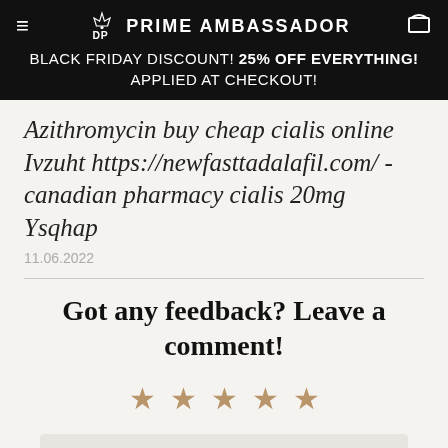PRIME AMBASSADOR
BLACK FRIDAY DISCOUNT! 25% OFF EVERYTHING! APPLIED AT CHECKOUT!
Azithromycin buy cheap cialis online Ivzuht https://newfasttadalafil.com/ - canadian pharmacy cialis 20mg Ysqhap
11.06.2022
Got any feedback? Leave a comment!
★ ★ ★ ★ ★
Comment Title